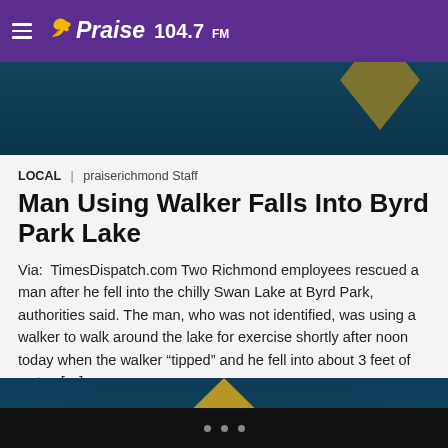Praise 104.7 FM
[Figure (photo): Partial header image showing blue and gold Praise 104.7 FM branding/logo on a dark background]
LOCAL | praiserichmond Staff
Man Using Walker Falls Into Byrd Park Lake
Via:  TimesDispatch.com Two Richmond employees rescued a man after he fell into the chilly Swan Lake at Byrd Park, authorities said. The man, who was not identified, was using a walker to walk around the lake for exercise shortly after noon today when the walker “tipped” and he fell into about 3 feet of water, […]
[Figure (photo): Praise 104.7 FM logo on a dark blue/teal blurred background with gold diamond shape]
• • •